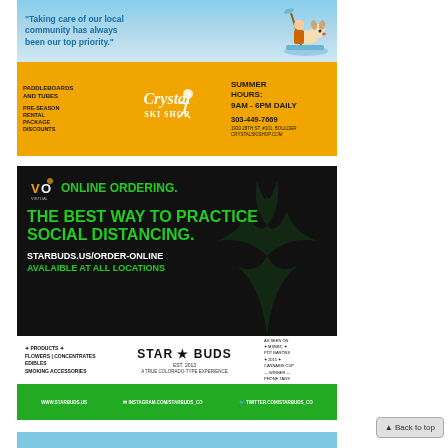[Figure (illustration): Crystal Ski Shop advertisement with blue sky/water top section showing text 'Taking care of our local community has always been our top priority.' with a dog on paddleboard image, and orange bottom section with logo, contact info: 303-449-7669, 1933 28th St #101 Boulder, crystalskishop.com, summer hours 9AM-6PM daily, paddleboards and tubes, pre-season rental package discounts]
[Figure (illustration): Starbuds cannabis dispensary advertisement. Top black section: online ordering promotion 'THE BEST WAY TO PRACTICE SOCIAL DISTANCING.' starbuds.us/order-online AVALAIBLE AT ALL LOCATIONS. Middle white section: Star Buds logo EST. 2013, products listed (flowers, concentrates, edibles, smoking accessories), awards. Green footer with website and social media links www.starbuds.us, instagram.com/starbuds_co, twitter.com/starbuds_co]
[Figure (photo): Partial third advertisement visible at bottom, appears to be light blue colored]
▲ Back to top